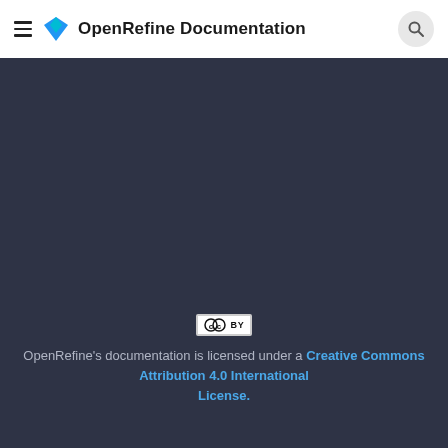OpenRefine Documentation
[Figure (logo): OpenRefine diamond-shaped logo with teal and blue gradient, displayed as a large downward-pointing chevron/diamond shape on a dark navy background]
[Figure (logo): Creative Commons BY license badge — white rectangle with CC icon and 'BY' text]
OpenRefine's documentation is licensed under a Creative Commons Attribution 4.0 International License.